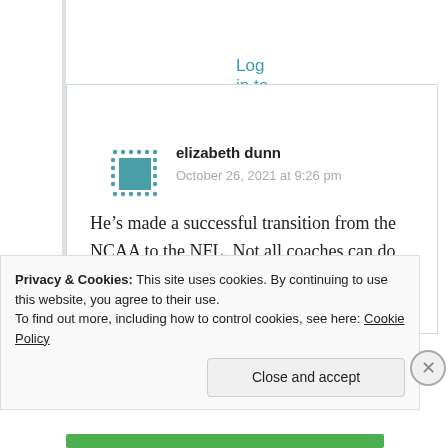Log in to Reply
[Figure (illustration): User avatar icon: teal square with dotted border pattern]
elizabeth dunn
October 26, 2021 at 9:26 pm
He’s made a successful transition from the NCAA to the NFL. Not all coaches can do that- see Nick Saban!
Privacy & Cookies: This site uses cookies. By continuing to use this website, you agree to their use.
To find out more, including how to control cookies, see here: Cookie Policy
Close and accept